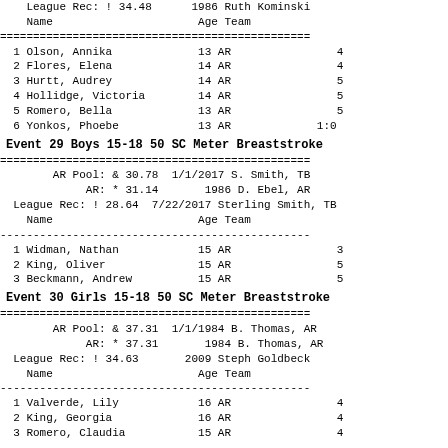| # | Name | Age | Team | Time |
| --- | --- | --- | --- | --- |
|  | League Rec: ! 34.48 |  | 1986 Ruth Kominski |  |
|  | Name | Age | Team |  |
| 1 | Olson, Annika | 13 | AR | 4:... |
| 2 | Flores, Elena | 14 | AR | 4:... |
| 3 | Hurtt, Audrey | 14 | AR | 5:... |
| 4 | Hollidge, Victoria | 14 | AR | 5:... |
| 5 | Romero, Bella | 13 | AR | 5:... |
| 6 | Yonkos, Phoebe | 13 | AR | 1:0... |
Event 29  Boys 15-18 50 SC Meter Breaststroke
| # | Name | Age | Team | Time |
| --- | --- | --- | --- | --- |
|  | AR Pool: & 30.78 | 1/1/2017 | S. Smith, TB |  |
|  | AR: * 31.14 | 1986 | D. Ebel, AR |  |
|  | League Rec: ! 28.64 | 7/22/2017 | Sterling Smith, TB |  |
|  | Name | Age | Team |  |
| 1 | Widman, Nathan | 15 | AR | 3:... |
| 2 | King, Oliver | 15 | AR | 5:... |
| 3 | Beckmann, Andrew | 15 | AR | 5:... |
Event 30  Girls 15-18 50 SC Meter Breaststroke
| # | Name | Age | Team | Time |
| --- | --- | --- | --- | --- |
|  | AR Pool: & 37.31 | 1/1/1984 | B. Thomas, AR |  |
|  | AR: * 37.31 | 1984 | B. Thomas, AR |  |
|  | League Rec: ! 34.63 | 2009 | Steph Goldbeck |  |
|  | Name | Age | Team |  |
| 1 | Valverde, Lily | 16 | AR | 4:... |
| 2 | King, Georgia | 16 | AR | 4:... |
| 3 | Romero, Claudia | 15 | AR | 4:... |